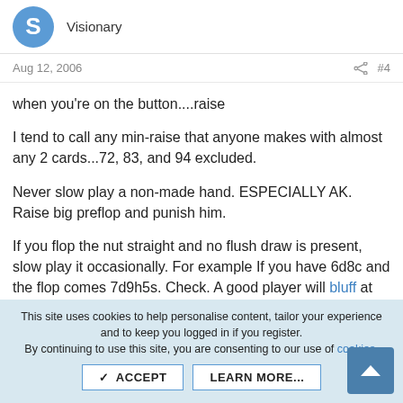S  Visionary
Aug 12, 2006  #4
when you're on the button....raise
I tend to call any min-raise that anyone makes with almost any 2 cards...72, 83, and 94 excluded.
Never slow play a non-made hand. ESPECIALLY AK. Raise big preflop and punish him.
If you flop the nut straight and no flush draw is present, slow play it occasionally. For example If you have 6d8c and the flop comes 7d9h5s. Check. A good player will bluff at the pot (or if your lucky he has A9). Just call his bet - and bet out big.
This site uses cookies to help personalise content, tailor your experience and to keep you logged in if you register.
By continuing to use this site, you are consenting to our use of cookies.
ACCEPT   LEARN MORE...